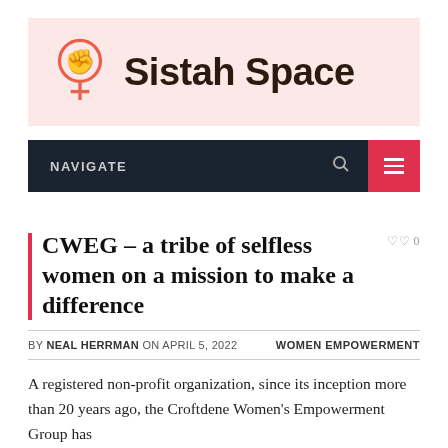[Figure (logo): Sistah Space website header banner with logo (fist in lightbulb with female symbol) and site name 'Sistah Space' on pink background]
NAVIGATE
CWEG – a tribe of selfless women on a mission to make a difference
BY NEAL HERRMAN ON APRIL 5, 2022   WOMEN EMPOWERMENT
A registered non-profit organization, since its inception more than 20 years ago, the Croftdene Women's Empowerment Group has